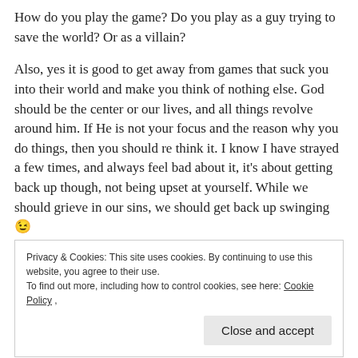How do you play the game? Do you play as a guy trying to save the world? Or as a villain?
Also, yes it is good to get away from games that suck you into their world and make you think of nothing else. God should be the center or our lives, and all things revolve around him. If He is not your focus and the reason why you do things, then you should re think it. I know I have strayed a few times, and always feel bad about it, it's about getting back up though, not being upset at yourself. While we should grieve in our sins, we should get back up swinging 😉
Privacy & Cookies: This site uses cookies. By continuing to use this website, you agree to their use.
To find out more, including how to control cookies, see here: Cookie Policy
some precautions.